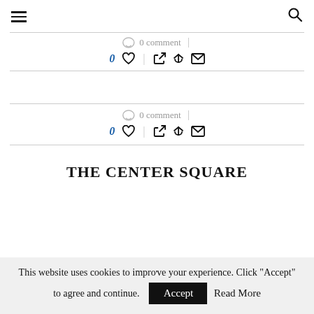Navigation menu and search
0 comment
0 ♡ | f 𝕥 ✉
0 comment
0 ♡ | f 𝕥 ✉
THE CENTER SQUARE
This website uses cookies to improve your experience. Click "Accept" to agree and continue. Accept Read More